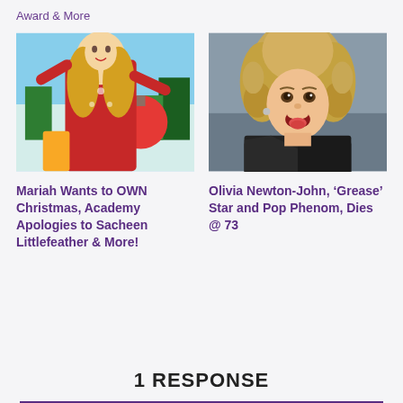Award & More
[Figure (photo): Mariah Carey in a red outfit performing at a Christmas event with decorations in the background]
[Figure (photo): Olivia Newton-John as Sandy in Grease, with curly blonde hair, wearing a black jacket, mouth open]
Mariah Wants to OWN Christmas, Academy Apologies to Sacheen Littlefeather & More!
Olivia Newton-John, 'Grease' Star and Pop Phenom, Dies @ 73
1 RESPONSE